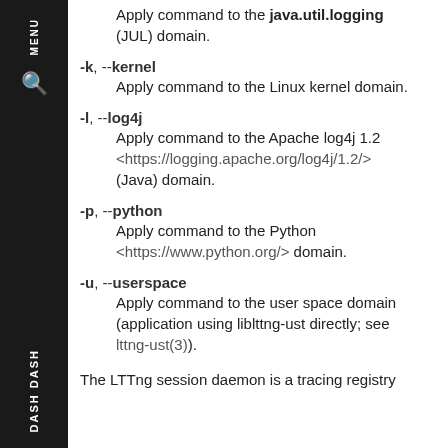Apply command to the java.util.logging (JUL) domain.
-k, --kernel
    Apply command to the Linux kernel domain.
-l, --log4j
    Apply command to the Apache log4j 1.2 <https://logging.apache.org/log4j/1.2/> (Java) domain.
-p, --python
    Apply command to the Python <https://www.python.org/> domain.
-u, --userspace
    Apply command to the user space domain (application using liblttng-ust directly; see lttng-ust(3)).
The LTTng session daemon is a tracing registry